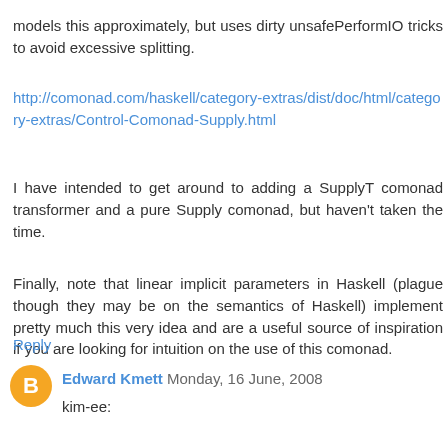models this approximately, but uses dirty unsafePerformIO tricks to avoid excessive splitting.
http://comonad.com/haskell/category-extras/dist/doc/html/category-extras/Control-Comonad-Supply.html
I have intended to get around to adding a SupplyT comonad transformer and a pure Supply comonad, but haven't taken the time.
Finally, note that linear implicit parameters in Haskell (plague though they may be on the semantics of Haskell) implement pretty much this very idea and are a useful source of inspiration if you are looking for intuition on the use of this comonad.
Reply
Edward Kmett Monday, 16 June, 2008
kim-ee: